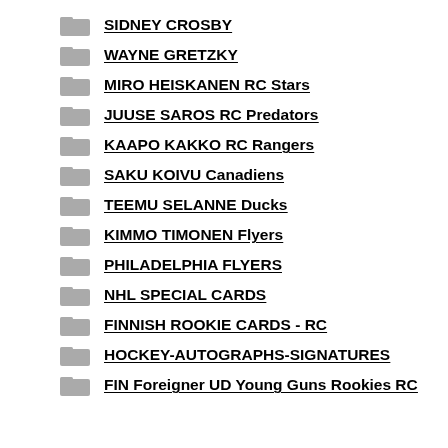SIDNEY CROSBY
WAYNE GRETZKY
MIRO HEISKANEN RC Stars
JUUSE SAROS RC Predators
KAAPO KAKKO RC Rangers
SAKU KOIVU Canadiens
TEEMU SELANNE Ducks
KIMMO TIMONEN Flyers
PHILADELPHIA FLYERS
NHL SPECIAL CARDS
FINNISH ROOKIE CARDS - RC
HOCKEY-AUTOGRAPHS-SIGNATURES
FIN Foreigner UD Young Guns Rookies RC